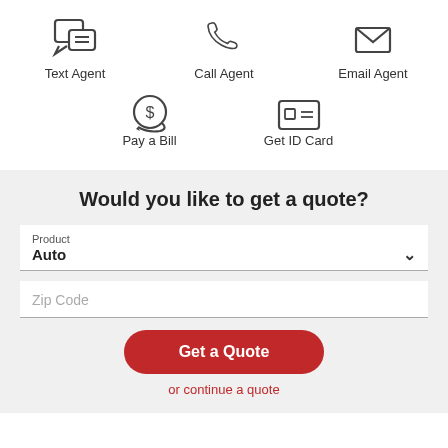[Figure (illustration): Three icons in a row: chat/text bubbles (Text Agent), phone handset (Call Agent), envelope (Email Agent)]
[Figure (illustration): Two icons in a row: dollar sign in circle with arrow (Pay a Bill), ID card (Get ID Card)]
Would you like to get a quote?
Product
Auto
Zip Code
Get a Quote
or continue a quote